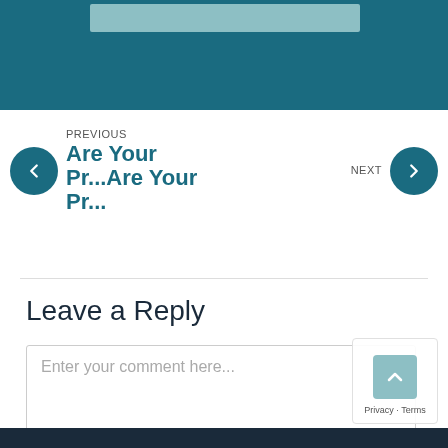[Figure (screenshot): Top teal/blue banner with a lighter green-teal rectangle inside]
PREVIOUS
Are Your Pr...Are Your Pr...
NEXT
Leave a Reply
Enter your comment here...
[Figure (screenshot): Scroll-to-top button with upward arrow and Privacy/Terms text overlay]